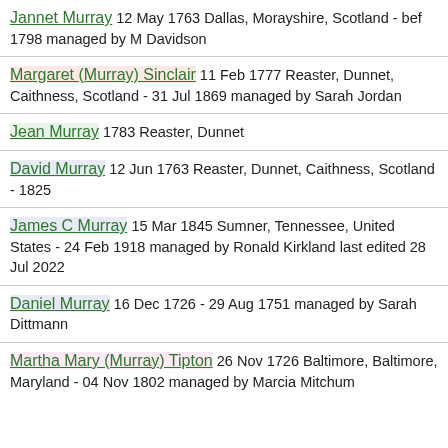Jannet Murray 12 May 1763 Dallas, Morayshire, Scotland - bef 1798 managed by M Davidson
Margaret (Murray) Sinclair 11 Feb 1777 Reaster, Dunnet, Caithness, Scotland - 31 Jul 1869 managed by Sarah Jordan
Jean Murray 1783 Reaster, Dunnet
David Murray 12 Jun 1763 Reaster, Dunnet, Caithness, Scotland - 1825
James C Murray 15 Mar 1845 Sumner, Tennessee, United States - 24 Feb 1918 managed by Ronald Kirkland last edited 28 Jul 2022
Daniel Murray 16 Dec 1726 - 29 Aug 1751 managed by Sarah Dittmann
Martha Mary (Murray) Tipton 26 Nov 1726 Baltimore, Baltimore, Maryland - 04 Nov 1802 managed by Marcia Mitchum